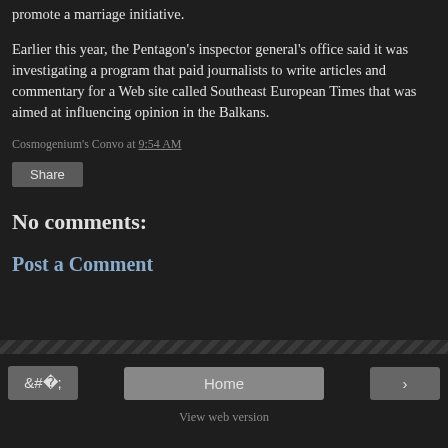promote a marriage initiative.
Earlier this year, the Pentagon's inspector general's office said it was investigating a program that paid journalists to write articles and commentary for a Web site called Southeast European Times that was aimed at influencing opinion in the Balkans.
Cosmogenium's Convo at 9:54 AM
Share
No comments:
Post a Comment
Home
View web version